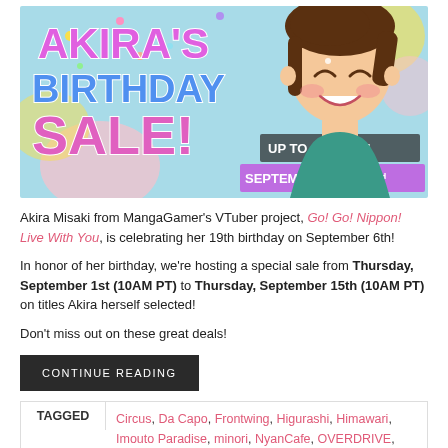[Figure (illustration): Promotional banner for Akira's Birthday Sale featuring anime character Akira Misaki smiling, with colorful text: AKIRA'S BIRTHDAY SALE! UP TO 60% OFF! SEPTEMBER 1ST - 15TH on a pastel blue background with confetti]
Akira Misaki from MangaGamer's VTuber project, Go! Go! Nippon! Live With You, is celebrating her 19th birthday on September 6th!
In honor of her birthday, we're hosting a special sale from Thursday, September 1st (10AM PT) to Thursday, September 15th (10AM PT) on titles Akira herself selected!
Don't miss out on these great deals!
CONTINUE READING
TAGGED Circus, Da Capo, Frontwing, Higurashi, Himawari, Imouto Paradise, minori, NyanCafe, OVERDRIVE, Softhouse Seal,